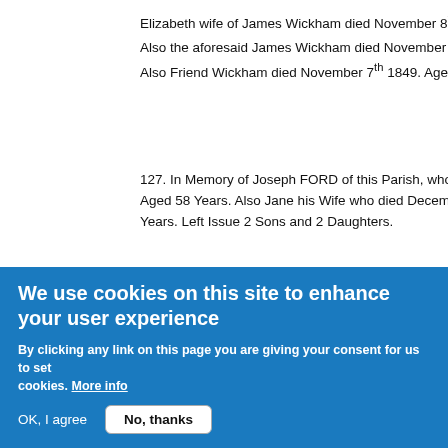Elizabeth wife of James Wickham died November 8th 1824. Age
Also the aforesaid James Wickham died November 8th 1825. Ag
Also Friend Wickham died November 7th 1849. Aged 34 Years.
127. In Memory of Joseph FORD of this Parish, who died May t
Aged 58 Years. Also Jane his Wife who died December the 34d
Years. Left Issue 2 Sons and 2 Daughters.
128. Sacred to the Memory of Richard SPRINGETT of this Pari
who died December the 10th 1811. Aged 77 Years. And Elizabe
who died December the 4th 1767. Aged 29 Years. Also Mary his
who died July the 22nd 1807. Aged 63 Years.
128A. Here lyeth ye Body of Edward BRIGDEN of ye Parish wh
We use cookies on this site to enhance your user experience
By clicking any link on this page you are giving your consent for us to set cookies. More info
OK, I agree
No, thanks